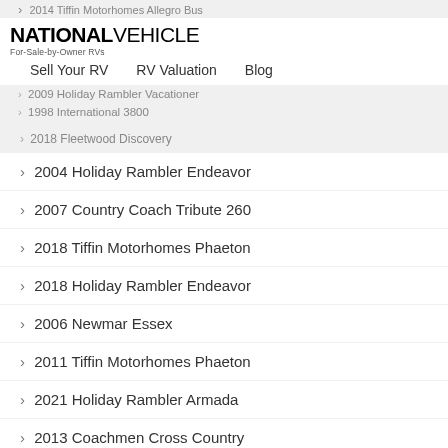› 2014 Tiffin Motorhomes Allegro Bus
NATIONAL VEHICLE For-Sale-by-Owner RVs | Sell Your RV | RV Valuation | Blog
› 2009 Holiday Rambler Vacationer
› 1998 International 3800
› 2018 Fleetwood Discovery
› 2004 Holiday Rambler Endeavor
› 2007 Country Coach Tribute 260
› 2018 Tiffin Motorhomes Phaeton
› 2018 Holiday Rambler Endeavor
› 2006 Newmar Essex
› 2011 Tiffin Motorhomes Phaeton
› 2021 Holiday Rambler Armada
› 2013 Coachmen Cross Country
› 2008 Forest River Berkshire
› 2022 Tiffin Motorhomes Allegro Bus